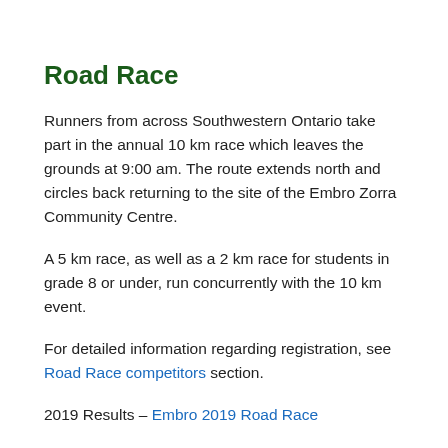Road Race
Runners from across Southwestern Ontario take part in the annual 10 km race which leaves the grounds at 9:00 am. The route extends north and circles back returning to the site of the Embro Zorra Community Centre.
A 5 km race, as well as a 2 km race for students in grade 8 or under, run concurrently with the 10 km event.
For detailed information regarding registration, see Road Race competitors section.
2019 Results – Embro 2019 Road Race